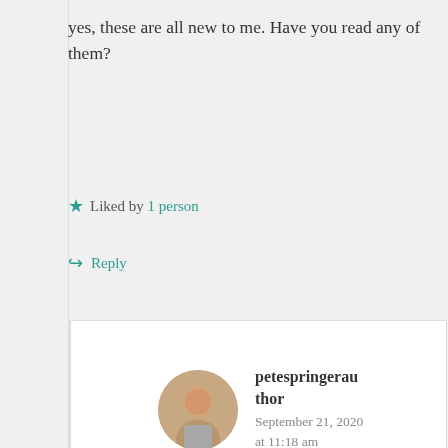yes, these are all new to me. Have you read any of them?
★ Liked by 1 person
↪ Reply
petespringerauthor
September 21, 2020 at 11:18 am
Nope! Belated birthday wishes, Jim!